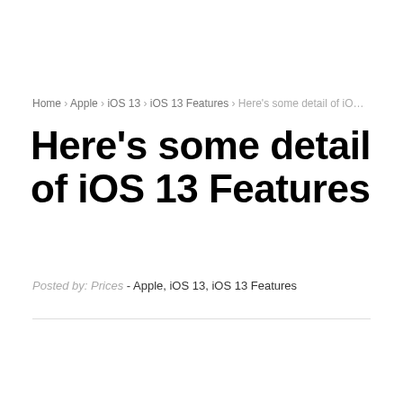Home › Apple › iOS 13 › iOS 13 Features › Here's some detail of iOS ...
Here's some detail of iOS 13 Features
Posted by: Prices - Apple, iOS 13, iOS 13 Features